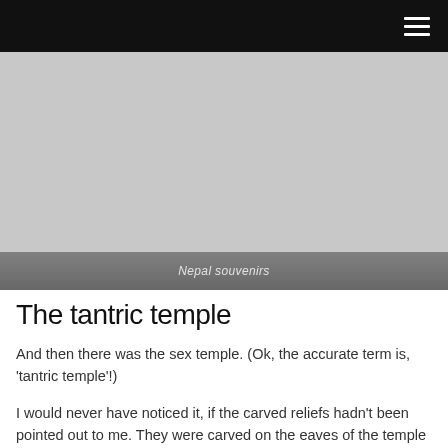[Figure (photo): Photo area showing Nepal souvenirs, with a gradient caption bar at the bottom reading 'Nepal souvenirs']
Nepal souvenirs
The tantric temple
And then there was the sex temple. (Ok, the accurate term is, 'tantric temple'!)
I would never have noticed it, if the carved reliefs hadn't been pointed out to me. They were carved on the eaves of the temple building. There were several depicting couples making love, even